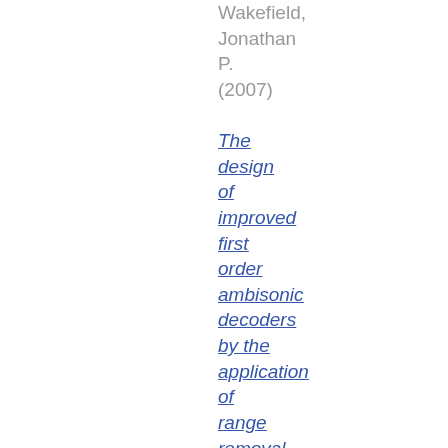Wakefield, Jonathan P. (2007)
The design of improved first order ambisonic decoders by the application of range removal and importance in a heuristic